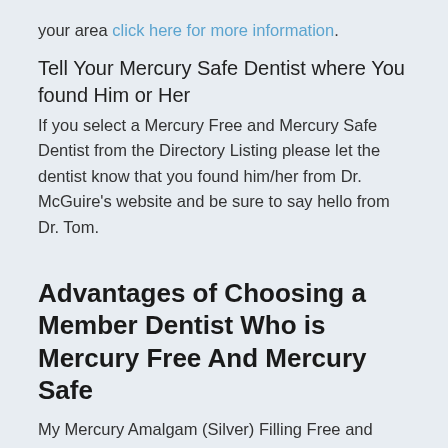your area click here for more information.
Tell Your Mercury Safe Dentist where You found Him or Her
If you select a Mercury Free and Mercury Safe Dentist from the Directory Listing please let the dentist know that you found him/her from Dr. McGuire's website and be sure to say hello from Dr. Tom.
Advantages of Choosing a Member Dentist Who is Mercury Free And Mercury Safe
My Mercury Amalgam (Silver) Filling Free and Mercury Safe Dentist Internet Directory includes dentists who are also members of the